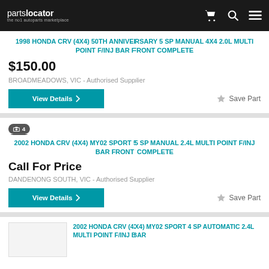partslocator - the no1 autoparts marketplace
1998 HONDA CRV (4X4) 50TH ANNIVERSARY 5 SP MANUAL 4X4 2.0L MULTI POINT F/INJ BAR FRONT COMPLETE
$150.00
BROADMEADOWS, VIC - Authorised Supplier
View Details | Save Part
4 photos
2002 HONDA CRV (4X4) MY02 SPORT 5 SP MANUAL 2.4L MULTI POINT F/INJ BAR FRONT COMPLETE
Call For Price
DANDENONG SOUTH, VIC - Authorised Supplier
View Details | Save Part
2002 HONDA CRV (4X4) MY02 SPORT 4 SP AUTOMATIC 2.4L MULTI POINT F/INJ BAR